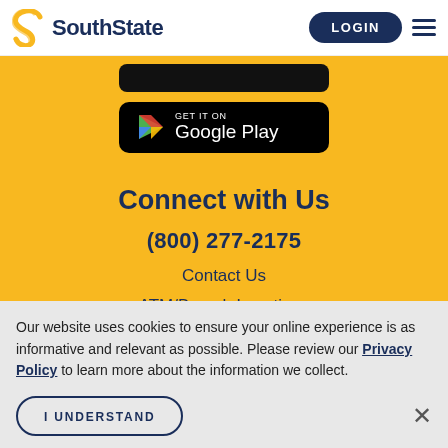SouthState | LOGIN
[Figure (screenshot): Google Play store download button on yellow background]
Connect with Us
(800) 277-2175
Contact Us
ATM/Branch Locations
Our website uses cookies to ensure your online experience is as informative and relevant as possible. Please review our Privacy Policy to learn more about the information we collect.
I UNDERSTAND